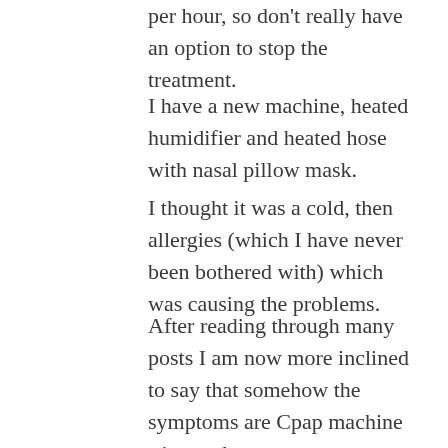per hour, so don't really have an option to stop the treatment.
I have a new machine, heated humidifier and heated hose with nasal pillow mask.
I thought it was a cold, then allergies (which I have never been bothered with) which was causing the problems.
After reading through many posts I am now more inclined to say that somehow the symptoms are Cpap machine triggered.
I will try the medical lanolin as a last resort.
I would appreciate any other possible remedies out there, and more so some recommendations from machine